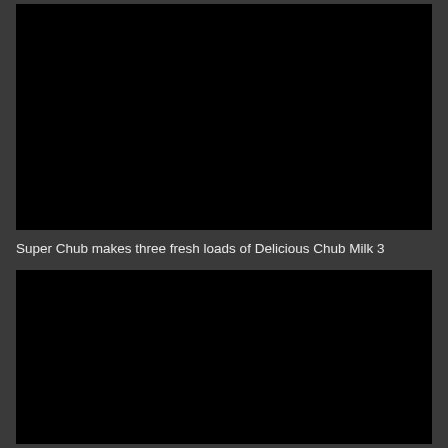[Figure (photo): Black rectangular image area at the top of the page]
Super Chub makes three fresh loads of Delicious Chub Milk 3
[Figure (photo): Black rectangular image area at the bottom of the page]